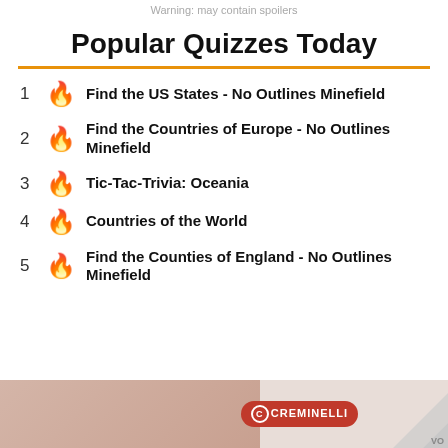Warning: may contain spoilers
Popular Quizzes Today
1 Find the US States - No Outlines Minefield
2 Find the Countries of Europe - No Outlines Minefield
3 Tic-Tac-Trivia: Oceania
4 Countries of the World
5 Find the Counties of England - No Outlines Minefield
[Figure (photo): Advertisement banner showing Creminelli brand product with a page-curl effect in the bottom right corner]